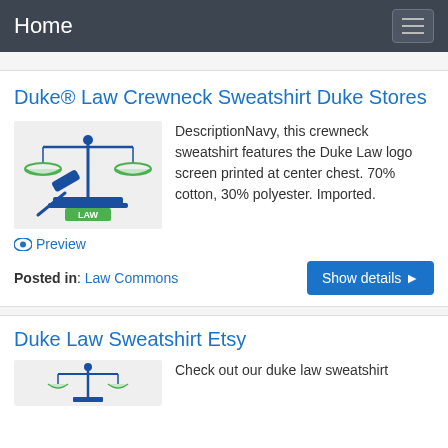Home
Duke® Law Crewneck Sweatshirt Duke Stores
[Figure (illustration): Illustration of a scales of justice with a gavel and a law book labeled LAW, in blue and green colors on a light gray background]
DescriptionNavy, this crewneck sweatshirt features the Duke Law logo screen printed at center chest. 70% cotton, 30% polyester. Imported.
Preview
Posted in: Law Commons
Duke Law Sweatshirt Etsy
Check out our duke law sweatshirt